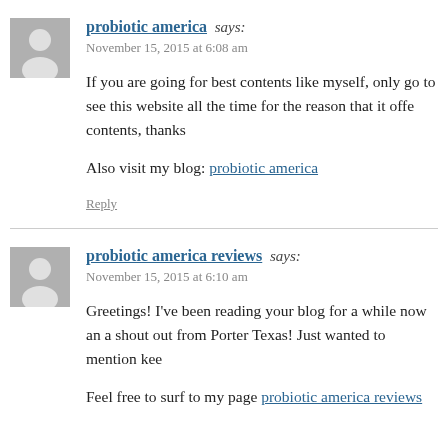probiotic america says:
November 15, 2015 at 6:08 am
If you are going for best contents like myself, only go to see this website all the time for the reason that it offe contents, thanks
Also visit my blog: probiotic america
Reply
probiotic america reviews says:
November 15, 2015 at 6:10 am
Greetings! I've been reading your blog for a while now an a shout out from Porter Texas! Just wanted to mention kee
Feel free to surf to my page probiotic america reviews